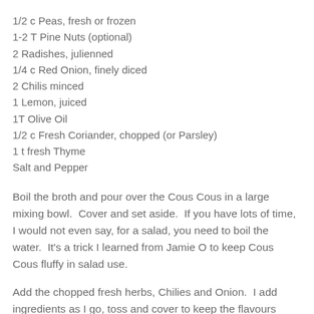1/2 c Peas, fresh or frozen
1-2 T Pine Nuts (optional)
2 Radishes, julienned
1/4 c Red Onion, finely diced
2 Chilis minced
1 Lemon, juiced
1T Olive Oil
1/2 c Fresh Coriander, chopped (or Parsley)
1 t fresh Thyme
Salt and Pepper
Boil the broth and pour over the Cous Cous in a large mixing bowl.  Cover and set aside.  If you have lots of time, I would not even say, for a salad, you need to boil the water.  It's a trick I learned from Jamie O to keep Cous Cous fluffy in salad use.
Add the chopped fresh herbs, Chilies and Onion.  I add ingredients as I go, toss and cover to keep the flavours mixing.  Add the Peas and julienned Radishes.  Mix.  As for the carrots, instead of using a grater where you may over juice and 'cream' your carrots, I used a zester to get really